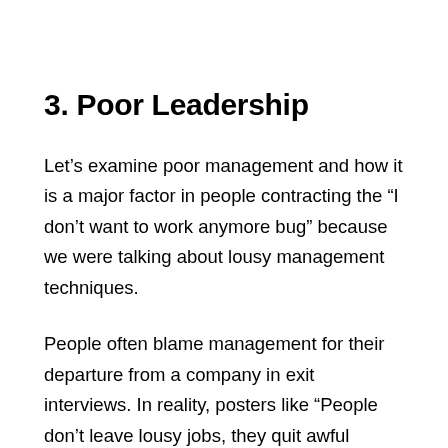3. Poor Leadership
Let's examine poor management and how it is a major factor in people contracting the “I don’t want to work anymore bug” because we were talking about lousy management techniques.
People often blame management for their departure from a company in exit interviews. In reality, posters like “People don’t leave lousy jobs, they quit awful employers” are highly frequent on social media.